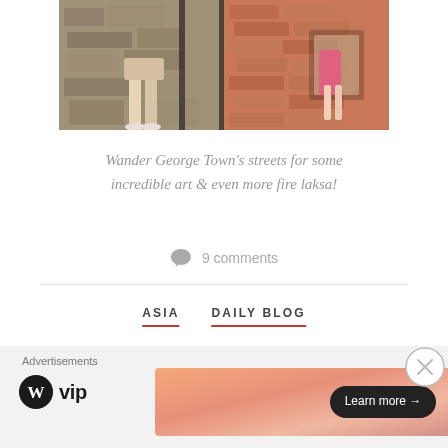[Figure (photo): A photo strip showing people standing against a weathered stone and brick wall with artistic elements]
Wander George Town's streets for some incredible art & even more fire laksa!
9 comments
ASIA   DAILY BLOG
My Guide to Island Hopping
Advertisements
[Figure (logo): WordPress VIP logo with circular W icon]
[Figure (photo): Advertisement banner with orange/peach gradient and Learn more button]